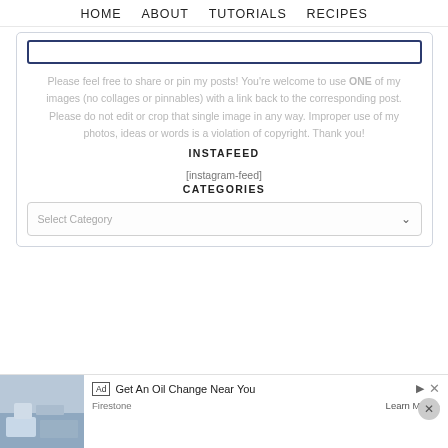HOME   ABOUT   TUTORIALS   RECIPES
Please feel free to share or pin my posts! You're welcome to use ONE of my images (no collages or pinnables) with a link back to the corresponding post. Please do not edit or crop that single image in any way. Improper use of my photos, ideas or words is a violation of copyright. Thank you!
INSTAFEED
[instagram-feed]
CATEGORIES
Select Category
[Figure (screenshot): Advertisement banner: 'Get An Oil Change Near You' from Firestone with a Learn More button]